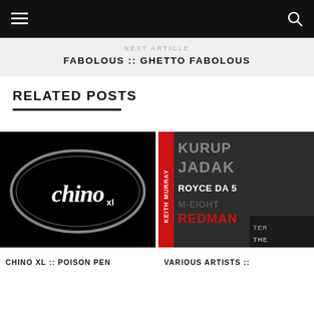Navigation bar with hamburger menu and search icon
NEXT ARTICLE
FABOLOUS :: GHETTO FABOLOUS
RELATED POSTS
[Figure (photo): Chino XL logo — stylized gothic lettering on black background]
[Figure (photo): Various Artists album cover showing names: KURUP, JADAK, ROYCE DA 5, M-EIGHT, KEITH MURRAY, REDMAN, THE — red, grey and white typography on dark background]
CHINO XL :: POISON PEN
VARIOUS ARTISTS ::